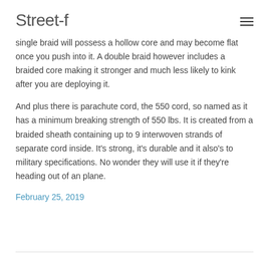Street-f
single braid will possess a hollow core and may become flat once you push into it. A double braid however includes a braided core making it stronger and much less likely to kink after you are deploying it.
And plus there is parachute cord, the 550 cord, so named as it has a minimum breaking strength of 550 lbs. It is created from a braided sheath containing up to 9 interwoven strands of separate cord inside. It's strong, it's durable and it also's to military specifications. No wonder they will use it if they're heading out of an plane.
February 25, 2019